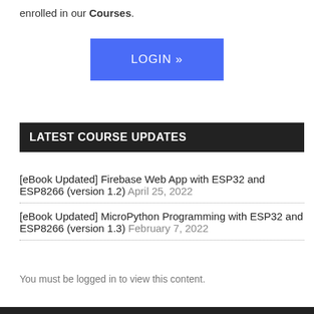enrolled in our Courses.
[Figure (other): Blue LOGIN button with right double arrow]
LATEST COURSE UPDATES
[eBook Updated] Firebase Web App with ESP32 and ESP8266 (version 1.2) April 25, 2022
[eBook Updated] MicroPython Programming with ESP32 and ESP8266 (version 1.3) February 7, 2022
You must be logged in to view this content.